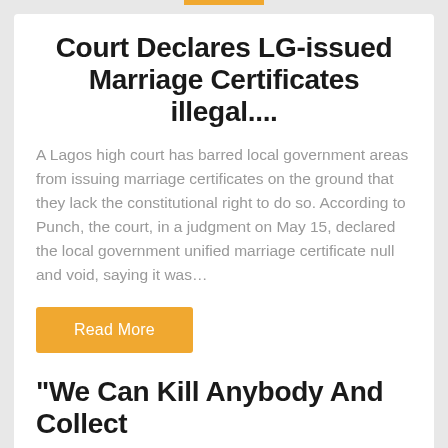Court Declares LG-issued Marriage Certificates illegal....
A Lagos high court has barred local government areas from issuing marriage certificates on the ground that they lack the constitutional right to do so. According to Punch, the court, in a judgment on May 15, declared the local government unified marriage certificate null and void, saying it was…
Read More
“We Can Kill Anybody And Collect